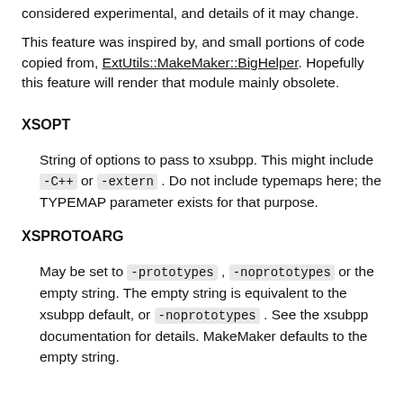considered experimental, and details of it may change.
This feature was inspired by, and small portions of code copied from, ExtUtils::MakeMaker::BigHelper. Hopefully this feature will render that module mainly obsolete.
XSOPT
String of options to pass to xsubpp. This might include -C++ or -extern. Do not include typemaps here; the TYPEMAP parameter exists for that purpose.
XSPROTOARG
May be set to -prototypes, -noprototypes or the empty string. The empty string is equivalent to the xsubpp default, or -noprototypes. See the xsubpp documentation for details. MakeMaker defaults to the empty string.